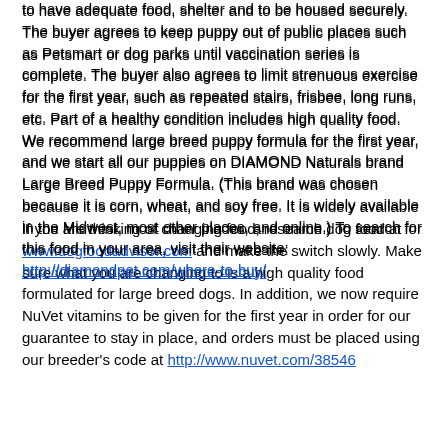to have adequate food, shelter and to be housed securely. The buyer agrees to keep puppy out of public places such as Petsmart or dog parks until vaccination series is complete. The buyer also agrees to limit strenuous exercise for the first year, such as repeated stairs, frisbee, long runs, etc. Part of a healthy condition includes high quality food. We recommend large breed puppy formula for the first year, and we start all our puppies on DIAMOND Naturals brand Large Breed Puppy Formula. (This brand was chosen because it is corn, wheat, and soy free. It is widely available in the Midwest, most other places, and online.) To search for this food in your area, visit their website: http://diamondpet.com/where-to-buy/
If you are thinking of changing food, research dog food at www.dogfoodadvisor.com and make the switch slowly. Make sure what you are changing to is a high quality food formulated for large breed dogs. In addition, we now require NuVet vitamins to be given for the first year in order for our guarantee to stay in place, and orders must be placed using our breeder's code at http://www.nuvet.com/38546
If life events occur that necessitate the rehoming of an O'Dell Lab puppy, please contact us and we will help. We will take the dog back in most cases, and work to find another home, at no cost to the breeder, and no refund will be given for any reason besides a genetic medical issue, as outlined above. It is our deepest desire that no puppy from us would ever end up in a shelter, so we are happy to help find a new home for our babies, but all sales are final.
Health Guarantee:
Buyer must take puppy in for a wellness/baseline exam within the first 5 business days after pup leaves the breeder. Failure to complete this initial